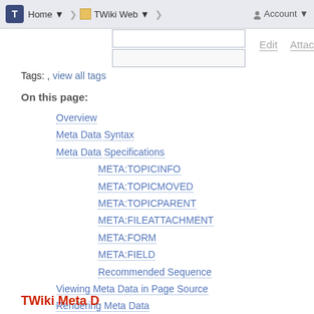T Home ▼ | TWiki Web ▼ | Account ▼
Tags: , view all tags
On this page:
Overview
Meta Data Syntax
Meta Data Specifications
META:TOPICINFO
META:TOPICMOVED
META:TOPICPARENT
META:FILEATTACHMENT
META:FORM
META:FIELD
Recommended Sequence
Viewing Meta Data in Page Source
Rendering Meta Data
Known Issues